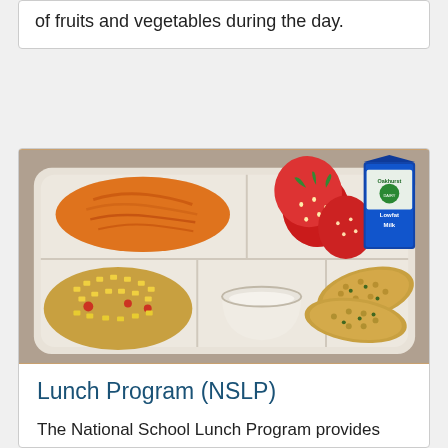of fruits and vegetables during the day.
[Figure (photo): School lunch tray with shredded carrots, strawberries, an Oakhurst Lowfat Milk carton, a dipping sauce cup, breaded fish nuggets, and a corn/vegetable mixture.]
Lunch Program (NSLP)
The National School Lunch Program provides low-cost or free healthy meals to children. Schools must follow federally established guidelines.